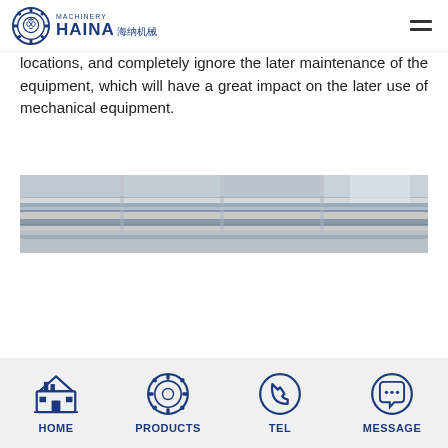HAINA 海纳机械 MACHINERY
locations, and completely ignore the later maintenance of the equipment, which will have a great impact on the later use of mechanical equipment.
[Figure (photo): Industrial facility interior showing overhead crane rail or structural beam running horizontally across the ceiling of a large warehouse or factory building]
HOME  PRODUCTS  TEL  Message